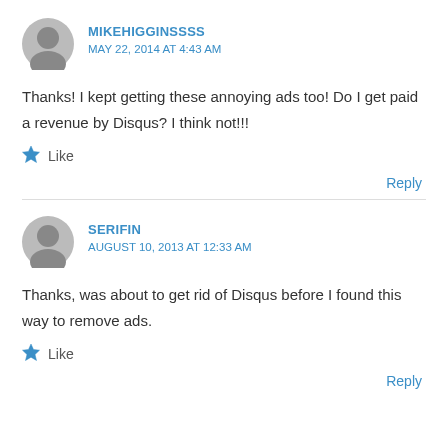MIKEHIGGINSSSS
MAY 22, 2014 AT 4:43 AM
Thanks! I kept getting these annoying ads too! Do I get paid a revenue by Disqus? I think not!!!
Like
Reply
SERIFIN
AUGUST 10, 2013 AT 12:33 AM
Thanks, was about to get rid of Disqus before I found this way to remove ads.
Like
Reply